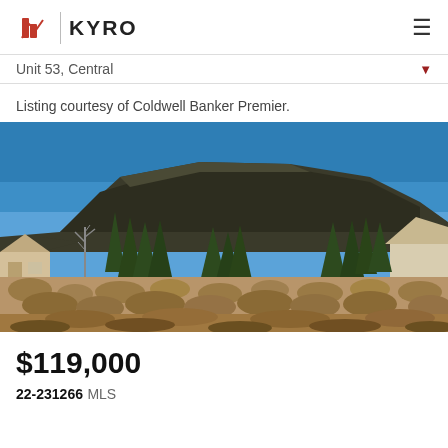KYRO — John Hook Team
Unit 53, Central
Listing courtesy of Coldwell Banker Premier.
[Figure (photo): Vacant land property photo showing dry scrubland with juniper trees, a large dark mountain ridge in the background, clear blue sky, and partial views of two houses on either side.]
$119,000
22-231266 MLS